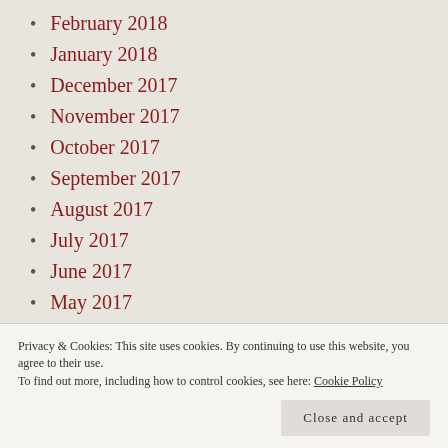February 2018
January 2018
December 2017
November 2017
October 2017
September 2017
August 2017
July 2017
June 2017
May 2017
April 2017
Privacy & Cookies: This site uses cookies. By continuing to use this website, you agree to their use.
To find out more, including how to control cookies, see here: Cookie Policy
Close and accept